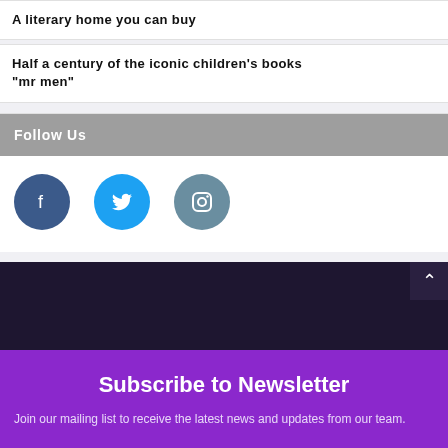A literary home you can buy
Half a century of the iconic children's books "mr men"
Follow Us
[Figure (infographic): Three social media icons in circles: Facebook (dark blue), Twitter (light blue), Instagram (grey-blue)]
Subscribe to Newsletter
Join our mailing list to receive the latest news and updates from our team.